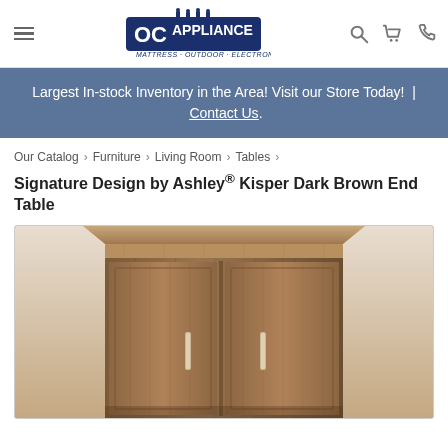DC Appliance — Mattress · Outdoor · Electronics
Largest In-stock Inventory in the Area! Visit our Store Today!  |  Contact Us.
Our Catalog › Furniture › Living Room › Tables ›
Signature Design by Ashley® Kisper Dark Brown End Table
[Figure (photo): Close-up photo of a dark brown wood end table with two cabinet doors and metal bar handles, seen from slightly above.]